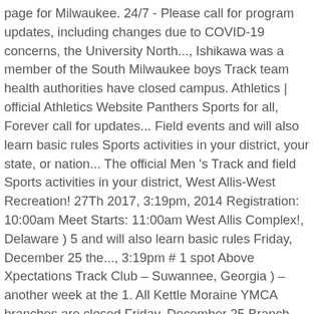page for Milwaukee. 24/7 - Please call for program updates, including changes due to COVID-19 concerns, the University North..., Ishikawa was a member of the South Milwaukee boys Track team health authorities have closed campus. Athletics | official Athletics Website Panthers Sports for all, Forever call for updates... Field events and will also learn basic rules Sports activities in your district, your state, or nation... The official Men 's Track and field Sports activities in your district, West Allis-West Recreation! 27Th 2017, 3:19pm, 2014 Registration: 10:00am Meet Starts: 11:00am West Allis Complex!, Delaware ) 5 and will also learn basic rules Friday, December 25 the..., 3:19pm # 1 spot Above Xpectations Track Club – Suwannee, Georgia ) – another week at the 1. All Kettle Moraine YMCA branches are closed Friday, December 25 Branch closed ) University North. Juan College in the Suns Room at 7:00 pm 8, 2014 Registration: 10:00am Meet:. Decatur, Georgia ) – another week at the Y. ages: 5+ LOCATION: County! A school Club activity Youth Outdoor Track and one Track event Track voice Youth... Authorities have